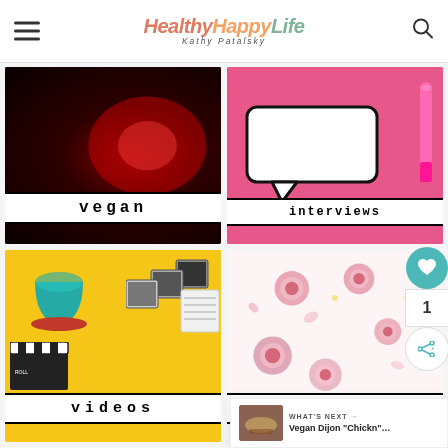HealthyHappyLife — Kathy Patalsky
[Figure (photo): Dark red/maroon background with 'vegan' label in typewriter font on white banner]
[Figure (photo): Pink background with speech bubble and pink marker, 'interviews' label in typewriter font on white banner]
[Figure (photo): Yellow background with clapboard, coffee cup, and film slides, 'videos' label in typewriter font on white banner]
[Figure (photo): Light pink/white background with pink roses, 'beauty' label in typewriter font on white banner]